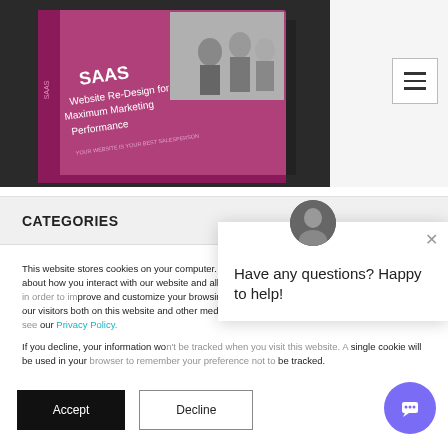[Figure (illustration): Book cover image: SAAS Website Re-Design for Maximum Marketing Performance book on a dark background with office team photo]
[Figure (other): Hamburger menu icon (three horizontal lines) in a bordered box]
CATEGORIES
This website stores cookies on your computer. These cookies are used to collect information about how you interact with our website and allow us to remember you. We use this information in order to improve and customize your browsing experience and for analytics and metrics about our visitors both on this website and other media. To find out more about the cookies we use, see our Privacy Policy.
If you decline, your information won't be tracked when you visit this website. A single cookie will be used in your browser to remember your preference not to be tracked.
[Figure (other): Chat popup with avatar photo and message: Have any questions? Happy to help! with close X button]
[Figure (other): Purple chat bubble button in bottom right corner]
Accept
Decline